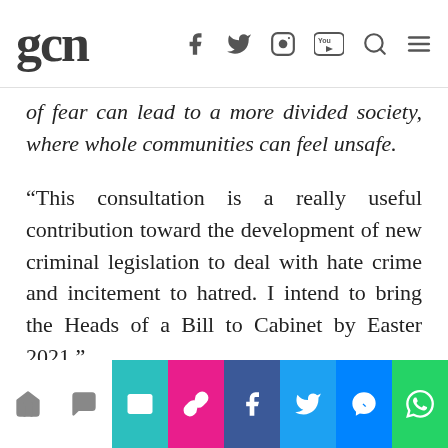gcn
of fear can lead to a more divided society, where whole communities can feel unsafe.
“This consultation is a really useful contribution toward the development of new criminal legislation to deal with hate crime and incitement to hatred. I intend to bring the Heads of a Bill to Cabinet by Easter 2021.”
The conclusions of the consultation (outlined below), together with the Department’s research on the effectiveness of legislative approaches internationally, will now be used to develop the
share icons bar